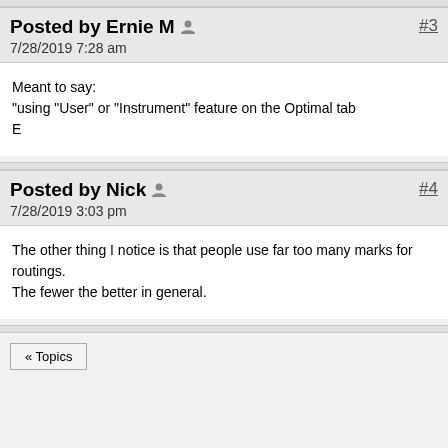Posted by Ernie M  7/28/2019 7:28 am  #3
Meant to say:
"using "User" or "Instrument" feature on the Optimal tab
E
Posted by Nick  7/28/2019 3:03 pm  #4
The other thing I notice is that people use far too many marks for routings. The fewer the better in general.
« Topics